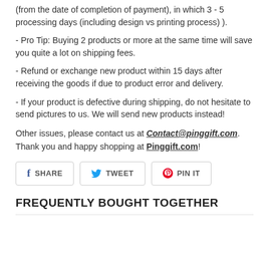(from the date of completion of payment), in which 3 - 5 processing days (including design vs printing process) ).
- Pro Tip: Buying 2 products or more at the same time will save you quite a lot on shipping fees.
- Refund or exchange new product within 15 days after receiving the goods if due to product error and delivery.
- If your product is defective during shipping, do not hesitate to send pictures to us. We will send new products instead!
Other issues, please contact us at Contact@pinggift.com. Thank you and happy shopping at Pinggift.com!
[Figure (infographic): Social sharing buttons: Facebook Share, Twitter Tweet, Pinterest Pin It]
FREQUENTLY BOUGHT TOGETHER